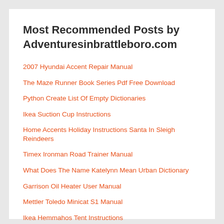Most Recommended Posts by Adventuresinbrattleboro.com
2007 Hyundai Accent Repair Manual
The Maze Runner Book Series Pdf Free Download
Python Create List Of Empty Dictionaries
Ikea Suction Cup Instructions
Home Accents Holiday Instructions Santa In Sleigh Reindeers
Timex Ironman Road Trainer Manual
What Does The Name Katelynn Mean Urban Dictionary
Garrison Oil Heater User Manual
Mettler Toledo Minicat S1 Manual
Ikea Hemmahos Tent Instructions